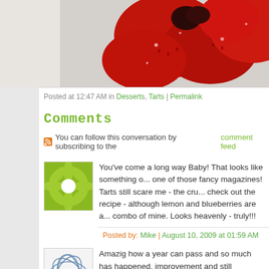[Figure (photo): Close-up photo of fresh red strawberries with sugar/glaze, partially cropped, on light background]
Posted at 12:47 AM in Desserts, Tarts | Permalink
Comments
You can follow this conversation by subscribing to the comment feed
[Figure (illustration): Square avatar icon with green geometric flower/star pattern on white background]
You've come a long way Baby! That looks like something out of one of those fancy magazines! Tarts still scare me - the cru... check out the recipe - although lemon and blueberries are a... combo of mine. Looks heavenly - truly!!!
Posted by: Mike | August 10, 2009 at 01:59 AM
[Figure (illustration): Square avatar icon with blue/gray geometric oval/lens pattern on white background]
Amazig how a year can pass and so much has happened. improvement and still delicious as always. Now I'm craving...